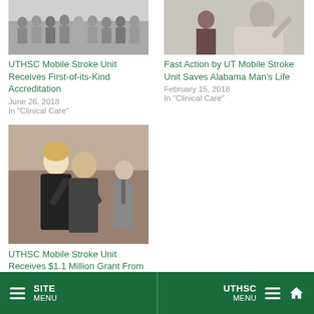[Figure (photo): Group of medical staff and personnel standing together in a hospital corridor]
UTHSC Mobile Stroke Unit Receives First-of-its-Kind Accreditation
June 26, 2018
In "Clinical Care"
[Figure (photo): Elderly patient in hospital gown waving, with medical staff nearby]
Fast Action by UT Mobile Stroke Unit Saves Alabama Man's Life
February 15, 2018
In "Clinical Care"
[Figure (photo): Two people embracing in a warm hug, with a third person in background wearing a suit]
UTHSC Mobile Stroke Unit Receives $1.1 Million Grant From Assisi Foundation of Memphis
February 15, 2019
In "Clinical Care"
SITE MENU | UTHSC MENU